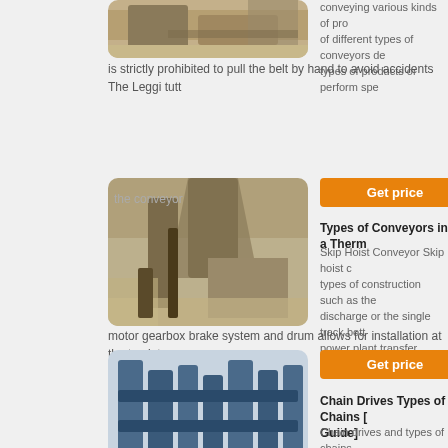[Figure (photo): Industrial quarry/mining conveyor equipment - top image, partially visible]
conveying various kinds of products of different types of conveyors designed for types of products or perform spe
is strictly prohibited to pull the belt by hand to avoid accidents The Leggi tutt
the conveyor
[Figure (photo): Large industrial mining/crushing plant with conveyor belts and heavy machinery]
[Figure (other): Orange Get price button]
Types of Conveyors in a Therm
Skip Hoist Conveyor Skip hoist comes in types of construction such as the discharge or the single track bott power plant transfer needs The c
motor gearbox brake system and drum allows for installation at the top intern
[Figure (photo): Industrial blue machinery/equipment - conveyor or chain drive system]
[Figure (other): Orange Get price button]
Chain Drives Types of Chains [Guide]
Chain drives and types of chains belt drives and the rope drives is remain constant but varies on ac
are positive drives there is no slip hence the velocity ratio will remain consta
small centre distances and can be used ge
[Figure (other): Orange Get price button]
[Figure (photo): Fourth image partially visible at bottom - outdoor/mining scene]
Different Types of Screw Conv